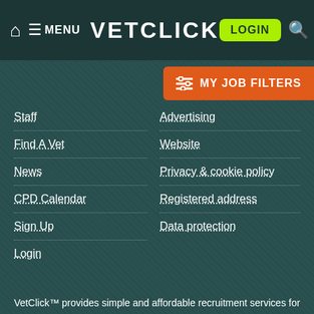MENU VETCLICK LOGIN
Staff
Advertising
Find A Vet
Website
News
Privacy & cookie policy
CPD Calendar
Registered address
Sign Up
Data protection
Login
[Figure (other): MY JOB FILTERS orange button with sliders icon]
VetClick™ provides simple and affordable recruitment services for busy veterinary professionals
All material on this website © Copyright VetClick (UK) Ltd 2000 - rights reserved
[Figure (other): Orange circular chat/messaging button]
Follow @Vetclick  4,358 followers
[Figure (other): RSS feed orange button]
[Figure (other): Scroll to top arrow up button]